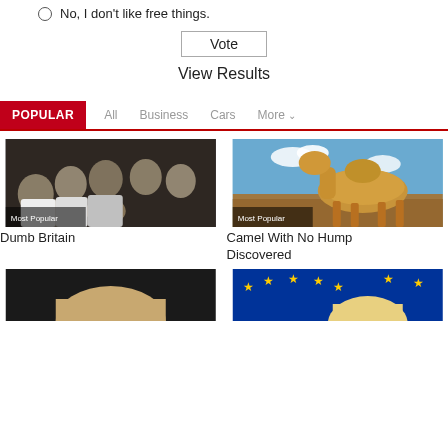No, I don't like free things.
Vote
View Results
POPULAR
All  Business  Cars  More
[Figure (photo): Group of young men at a party, most popular badge]
Dumb Britain
[Figure (photo): A camel standing in a desert landscape, most popular badge]
Camel With No Hump Discovered
[Figure (photo): Partial image bottom left]
[Figure (photo): Partial image bottom right with EU stars]